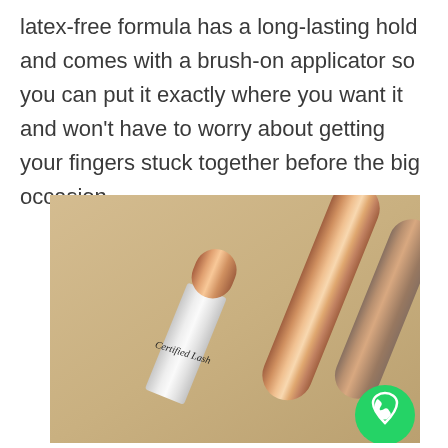latex-free formula has a long-lasting hold and comes with a brush-on applicator so you can put it exactly where you want it and won't have to worry about getting your fingers stuck together before the big occasion.
[Figure (photo): Photo of Certified Lash eyelash glue product — a white tube with rose gold cap labeled 'Certified Lash' in script, alongside a rose gold cylindrical tube, on a tan/beige background. A green WhatsApp icon button overlays the bottom right corner.]